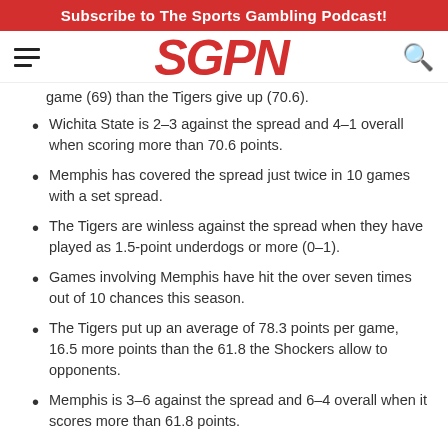Subscribe to The Sports Gambling Podcast!
[Figure (logo): SGPN logo in red italic bold font, with hamburger menu icon on left and search icon on right]
game (69) than the Tigers give up (70.6).
Wichita State is 2-3 against the spread and 4-1 overall when scoring more than 70.6 points.
Memphis has covered the spread just twice in 10 games with a set spread.
The Tigers are winless against the spread when they have played as 1.5-point underdogs or more (0-1).
Games involving Memphis have hit the over seven times out of 10 chances this season.
The Tigers put up an average of 78.3 points per game, 16.5 more points than the 61.8 the Shockers allow to opponents.
Memphis is 3-6 against the spread and 6-4 overall when it scores more than 61.8 points.